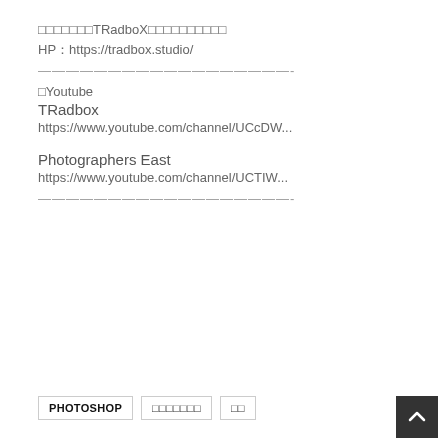□□□□□□□TRadboX□□□□□□□□□□
HP：https://tradbox.studio/
——————————————————-
□Youtube
TRadbox
https://www.youtube.com/channel/UCcDW...
Photographers East
https://www.youtube.com/channel/UCTIW...
——————————————————-
PHOTOSHOP　□□□□□□□　□□